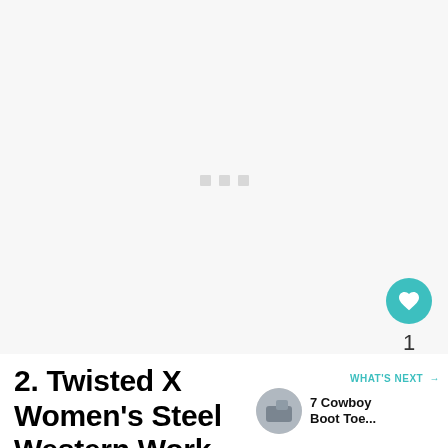[Figure (photo): Loading image placeholder with three small grey squares centered on a light grey background]
2. Twisted X Women's Steel Western Work Boot
[Figure (other): WHAT'S NEXT panel with thumbnail of cowboy boot and text '7 Cowboy Boot Toe...']